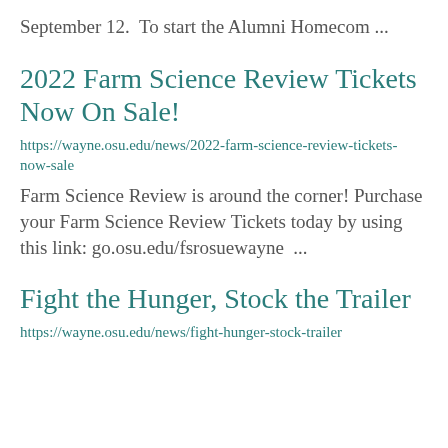September 12.  To start the Alumni Homecom ...
2022 Farm Science Review Tickets Now On Sale!
https://wayne.osu.edu/news/2022-farm-science-review-tickets-now-sale
Farm Science Review is around the corner! Purchase your Farm Science Review Tickets today by using this link: go.osu.edu/fsrosuewayne  ...
Fight the Hunger, Stock the Trailer
https://wayne.osu.edu/news/fight-hunger-stock-trailer